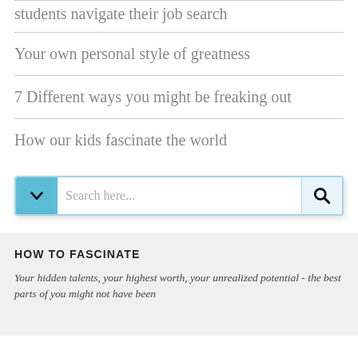students navigate their job search
Your own personal style of greatness
7 Different ways you might be freaking out
How our kids fascinate the world
[Figure (screenshot): Search bar with dropdown arrow on left (blue background with chevron) and magnifying glass button on right, placeholder text 'Search here...']
HOW TO FASCINATE
Your hidden talents, your highest worth, your unrealized potential - the best parts of you might not have been